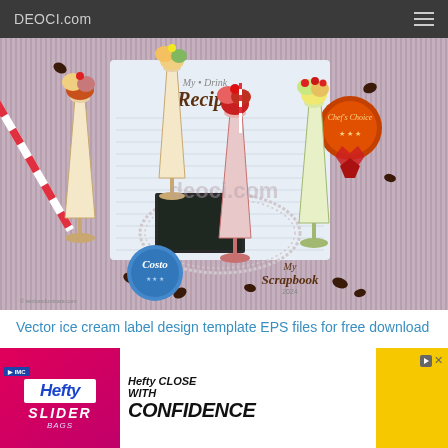DEOCI.com
[Figure (photo): Vector ice cream sundae drink label design illustration showing multiple ice cream float drinks in tall glasses with cherries, decorative elements, 'My Drink Recipe' text, scrapbook style design with coffee beans and striped straws]
Vector ice cream label design template EPS files for free download
Posted in Vector Advertising, Vector Templates
(1 votes, average: 5.00 out of 5)
[Figure (photo): Hefty Slider bags advertisement banner - Hefty Close With Confidence ad with pink/white/yellow background]